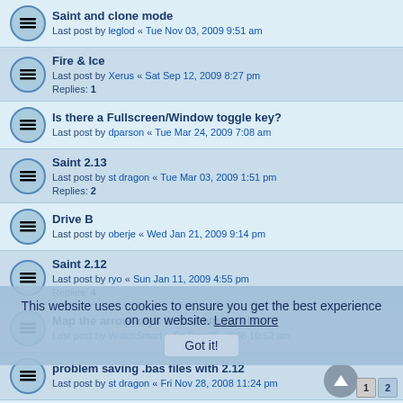Saint and clone mode
Last post by leglod « Tue Nov 03, 2009 9:51 am
Fire & Ice
Last post by Xerus « Sat Sep 12, 2009 8:27 pm
Replies: 1
Is there a Fullscreen/Window toggle key?
Last post by dparson « Tue Mar 24, 2009 7:08 am
Saint 2.13
Last post by st dragon « Tue Mar 03, 2009 1:51 pm
Replies: 2
Drive B
Last post by oberje « Wed Jan 21, 2009 9:14 pm
Saint 2.12
Last post by ryo « Sun Jan 11, 2009 4:55 pm
Replies: 4
Map the arrow keys to something else
Last post by WatchSmart « Fri Dec 05, 2008 10:52 am
problem saving .bas files with 2.12
Last post by st dragon « Fri Nov 28, 2008 11:24 pm
SainT211.exe - lower resolution limit?
Last post by alexh « Tue Oct 21, 2008 8:41 pm
Replies: 1
New SainT version in the making...
Last post by Mister DID « Fri Jul 04, 2008 12:45 pm
Replies: 35